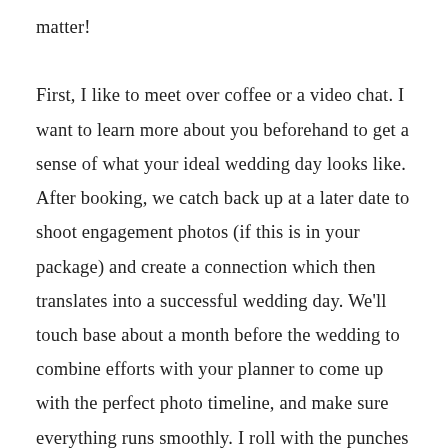matter! First, I like to meet over coffee or a video chat. I want to learn more about you beforehand to get a sense of what your ideal wedding day looks like. After booking, we catch back up at a later date to shoot engagement photos (if this is in your package) and create a connection which then translates into a successful wedding day. We'll touch base about a month before the wedding to combine efforts with your planner to come up with the perfect photo timeline, and make sure everything runs smoothly. I roll with the punches and love a laid back affair, but thrive with schedules because I know how important each wedding moment is to capture! My process sets me apart because of my experience. My job isn't just to produce a few iconic images from your wedding and let the